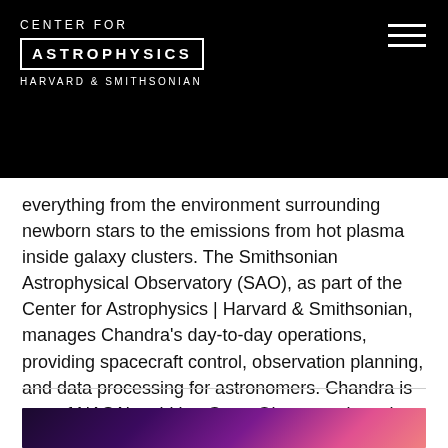CENTER FOR ASTROPHYSICS HARVARD & SMITHSONIAN
everything from the environment surrounding newborn stars to the emissions from hot plasma inside galaxy clusters. The Smithsonian Astrophysical Observatory (SAO), as part of the Center for Astrophysics | Harvard & Smithsonian, manages Chandra’s day-to-day operations, providing spacecraft control, observation planning, and data processing for astronomers. Chandra is one of NASA’s orbiting Great Observatories, along with the Hubble.
Visit the Chandra Website
[Figure (photo): Bottom portion of an astronomical image showing deep purple, magenta and pink nebula or galaxy cluster colors]